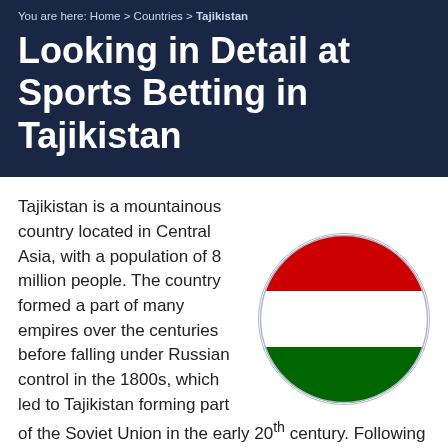You are here: Home > Countries > Tajikistan
Looking in Detail at Sports Betting in Tajikistan
[Figure (illustration): Circular flag of Tajikistan with red top stripe, white middle stripe with golden crown and seven stars, and green bottom stripe.]
Tajikistan is a mountainous country located in Central Asia, with a population of 8 million people. The country formed a part of many empires over the centuries before falling under Russian control in the 1800s, which led to Tajikistan forming part of the Soviet Union in the early 20th century. Following the collapse of communism and independence a civil war broke out in the country which lasted until 1997. Although now claiming to operate under a democracy Tajikistan's elections and ruling party have drawn criticism for failing